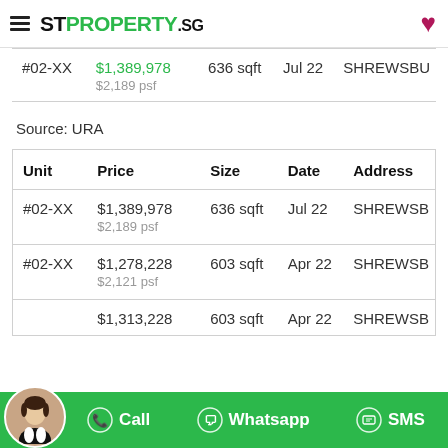STPROPERTY.sg
| Unit | Price | Size | Date | Address |
| --- | --- | --- | --- | --- |
| #02-XX | $1,389,978
$2,189 psf | 636 sqft | Jul 22 | SHREWSBU |
Source: URA
| Unit | Price | Size | Date | Address |
| --- | --- | --- | --- | --- |
| #02-XX | $1,389,978
$2,189 psf | 636 sqft | Jul 22 | SHREWSB |
| #02-XX | $1,278,228
$2,121 psf | 603 sqft | Apr 22 | SHREWSB |
| #02-XX | $1,313,228 | 603 sqft | Apr 22 | SHREWSB |